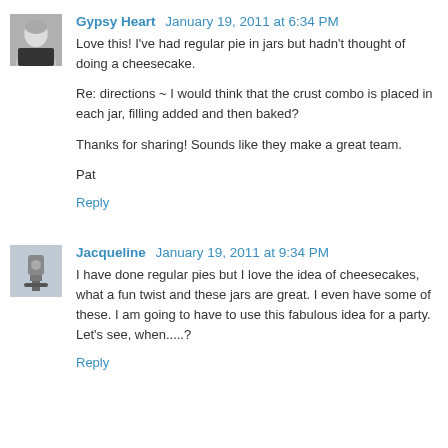Gypsy Heart  January 19, 2011 at 6:34 PM
Love this! I've had regular pie in jars but hadn't thought of doing a cheesecake.

Re: directions ~ I would think that the crust combo is placed in each jar, filling added and then baked?

Thanks for sharing! Sounds like they make a great team.

Pat

Reply
Jacqueline  January 19, 2011 at 9:34 PM
I have done regular pies but I love the idea of cheesecakes, what a fun twist and these jars are great. I even have some of these. I am going to have to use this fabulous idea for a party. Let's see, when.....?

Reply